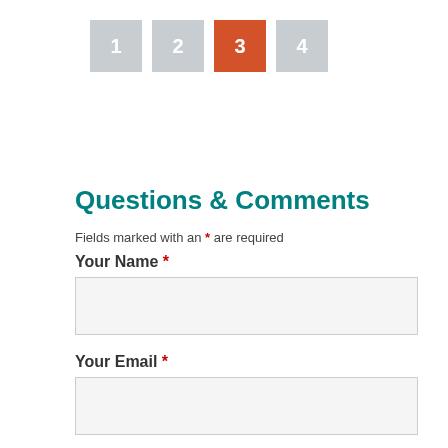[Figure (infographic): Step indicator showing 4 numbered boxes: 1 (grey), 2 (grey), 3 (orange/active), 4 (grey)]
Questions & Comments
Fields marked with an * are required
Your Name *
Your Email *